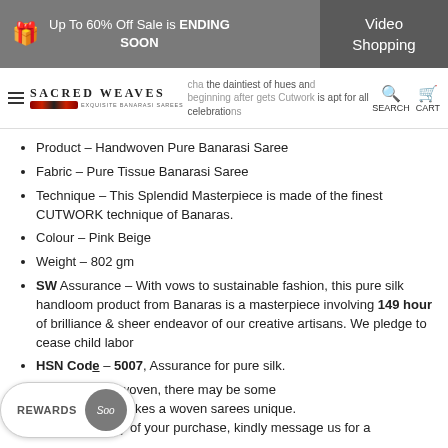Up To 60% Off Sale is ENDING SOON | Video Shopping
SACRED WEAVES EXQUISITE BANARASI SAREES — ...the daintiest of hues and beginning after gets Cutwork is apt for all celebrations — SEARCH CART
Product – Handwoven Pure Banarasi Saree
Fabric – Pure Tissue Banarasi Saree
Technique – This Splendid Masterpiece is made of the finest CUTWORK technique of Banaras.
Colour – Pink Beige
Weight – 802 gm
SW Assurance – With vows to sustainable fashion, this pure silk handloom product from Banaras is a masterpiece involving 149 hour of brilliance & sheer endeavor of our creative artisans. We pledge to cease child labor
HSN Code – 5007, Assurance for pure silk.
...As Handwoven, there may be some ...s what makes a woven sarees unique. For more clarity of your purchase, kindly message us for a